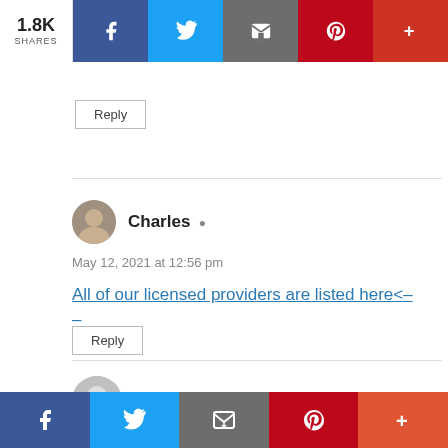[Figure (infographic): Social sharing bar at top with share count 1.8K SHARES, Facebook, Twitter, Email, Pinterest, and More (+) buttons]
Reply
Charles [user icon]
May 12, 2021 at 12:56 pm
All of our licensed providers are listed here<––
Reply
Lawrence Iteld
[Figure (infographic): Bottom social sharing bar with Facebook, Twitter, Email, Pinterest, and More (+) buttons]